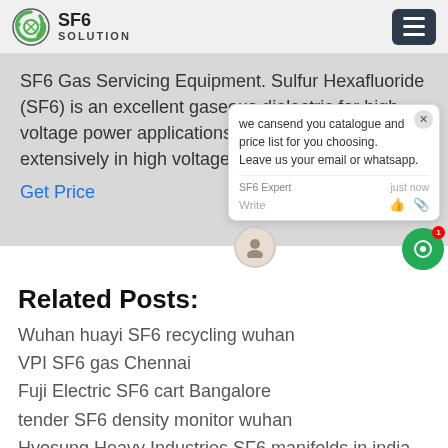SF6 SOLUTION
SF6 Gas Servicing Equipment. Sulfur Hexafluoride (SF6) is an excellent gaseous dielectric for high voltage power applications. It has been used extensively in high voltage circuit breakers and
Get Price
[Figure (screenshot): Chat popup with message: we can send you catalogue and price list for you choosing. Leave us your email or whatsapp. SF6 Expert | just now. Write area with thumbs up and paperclip icons.]
Related Posts:
Wuhan huayi SF6 recycling wuhan
VPI SF6 gas Chennai
Fuji Electric SF6 cart Bangalore
tender SF6 density monitor wuhan
Hyosung Heavy Industries SF6 manifolds in india